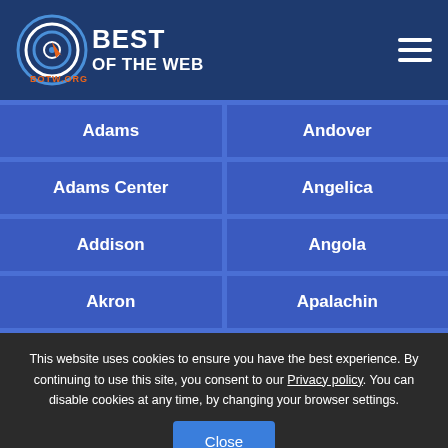Best of the Web - BOTW.ORG
Adams
Andover
Adams Center
Angelica
Addison
Angola
Akron
Apalachin
This website uses cookies to ensure you have the best experience. By continuing to use this site, you consent to our Privacy policy. You can disable cookies at any time, by changing your browser settings.